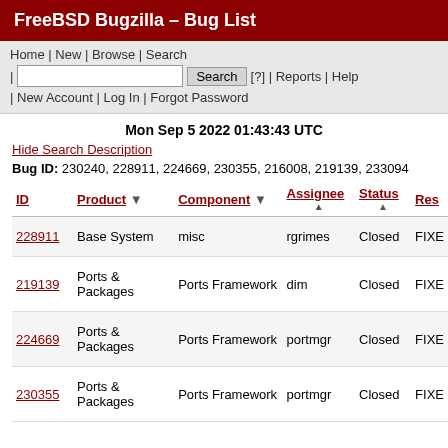FreeBSD Bugzilla – Bug List
Home | New | Browse | Search | [search box] Search [?] | Reports | Help | New Account | Log In | Forgot Password
Mon Sep 5 2022 01:43:43 UTC
Hide Search Description
Bug ID: 230240, 228911, 224669, 230355, 216008, 219139, 233094
| ID | Product ▼ | Component ▼ | Assignee ▲ | Status ▲ | Res |
| --- | --- | --- | --- | --- | --- |
| 228911 | Base System | misc | rgrimes | Closed | FIXE |
| 219139 | Ports & Packages | Ports Framework | dim | Closed | FIXE |
| 224669 | Ports & Packages | Ports Framework | portmgr | Closed | FIXE |
| 230355 | Ports & Packages | Ports Framework | portmgr | Closed | FIXE |